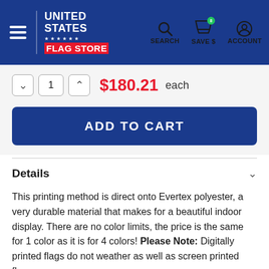United States Flag Store — SEARCH, SAVE $, ACCOUNT
$180.21 each (quantity: 1)
ADD TO CART
Details
This printing method is direct onto Evertex polyester, a very durable material that makes for a beautiful indoor display. There are no color limits, the price is the same for 1 color as it is for 4 colors! Please Note: Digitally printed flags do not weather as well as screen printed flags.